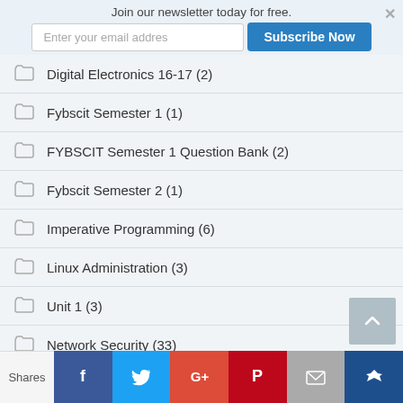Join our newsletter today for free.
Enter your email addres | Subscribe Now
Digital Electronics 16-17 (2)
Fybscit Semester 1 (1)
FYBSCIT Semester 1 Question Bank (2)
Fybscit Semester 2 (1)
Imperative Programming (6)
Linux Administration (3)
Unit 1 (3)
Network Security (33)
News (40)
Posts (1)
Shares | Facebook | Twitter | Google+ | Pinterest | Email | Crown